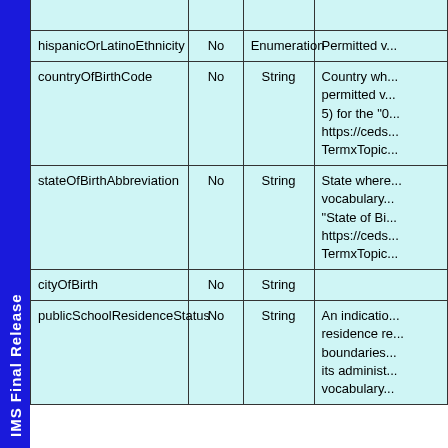| Field | Required | Type | Description |
| --- | --- | --- | --- |
| hispanicOrLatinoEthnicity | No | Enumeration | Permitted v... |
| countryOfBirthCode | No | String | Country wh... permitted v... 5) for the "0... https://ceds... TermxTopic... |
| stateOfBirthAbbreviation | No | String | State where... vocabulary... "State of Bi... https://ceds... TermxTopic... |
| cityOfBirth | No | String |  |
| publicSchoolResidenceStatus | No | String | An indicatio... residence re... boundaries... its administ... vocabulary... |